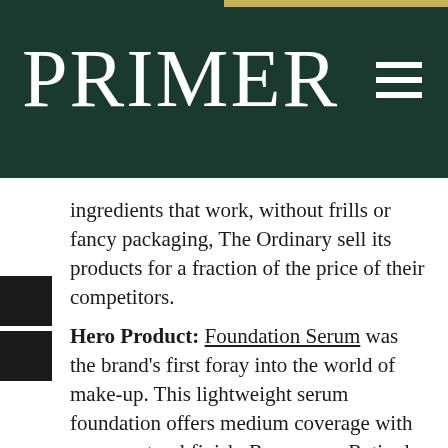PRIMER
ingredients that work, without frills or fancy packaging, The Ordinary sell its products for a fraction of the price of their competitors.
Hero Product: Foundation Serum was the brand's first foray into the world of make-up. This lightweight serum foundation offers medium coverage with a very natural finish. Runner up: Retinol 1% in Squalane.
8. Fuss-Free Results: Paula's Choice